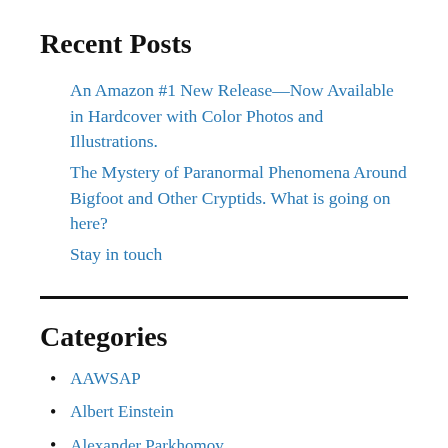Recent Posts
An Amazon #1 New Release—Now Available in Hardcover with Color Photos and Illustrations.
The Mystery of Paranormal Phenomena Around Bigfoot and Other Cryptids. What is going on here?
Stay in touch
Categories
AAWSAP
Albert Einstein
Alexander Parkhomov